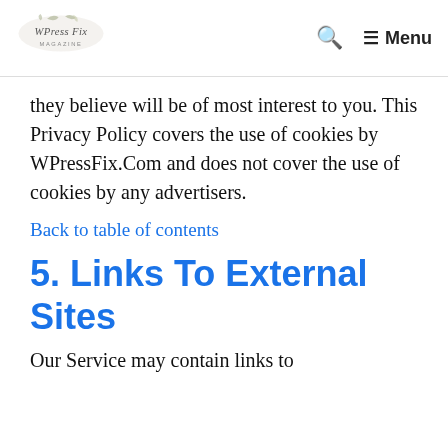WPressFix Magazine logo, search icon, Menu
they believe will be of most interest to you. This Privacy Policy covers the use of cookies by WPressFix.Com and does not cover the use of cookies by any advertisers.
Back to table of contents
5. Links To External Sites
Our Service may contain links to